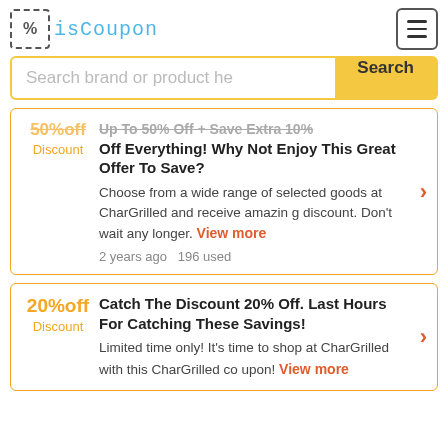isCoupon
Search brand or product here
30%off Discount — Up To 50% Off + Save Extra 10% Off Everything! Why Not Enjoy This Great Offer To Save? — Choose from a wide range of selected goods at CharGrilled and receive amazin g discount. Don't wait any longer. View more — 2 years ago  196 used
20%off Discount — Catch The Discount 20% Off. Last Hours For Catching These Savings! — Limited time only! It's time to shop at CharGrilled with this CharGrilled co upon! View more